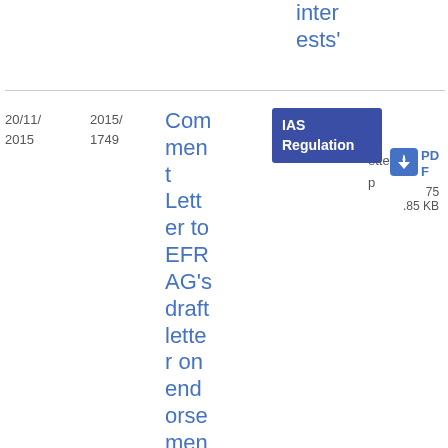inter ests'
| Date | Number | Title | Type | Format | Size |
| --- | --- | --- | --- | --- | --- |
| 20/11/2015 | 2015/1749 | Comment Letter to EFRAG's draft letter on endorsement advice on adoption of | IAS Regulation | Letter | PDF 75.85 KB |